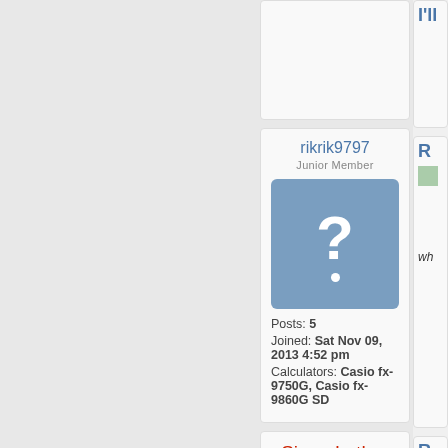rikrik9797
Junior Member
[Figure (illustration): Default avatar placeholder: blue-grey rounded square with a white question mark and dot]
Posts: 5
Joined: Sat Nov 09, 2013 4:52 pm
Calculators: Casio fx-9750G, Casio fx-9860G SD
SimonLothar
Senior Member
[Figure (illustration): Green background with red/white triangle warning sign containing a bicycle icon and text 'Beware of the BIKE!']
Posts: 605
Joined: Sat Sep 15, 2012 6:59 am